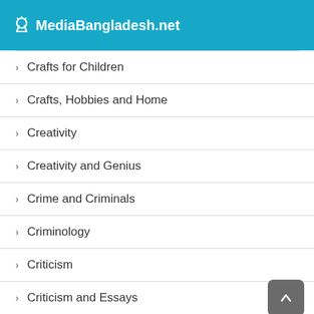MediaBangladesh.net
Crafts for Children
Crafts, Hobbies and Home
Creativity
Creativity and Genius
Crime and Criminals
Criminology
Criticism
Criticism and Essays
Criticism and Theory